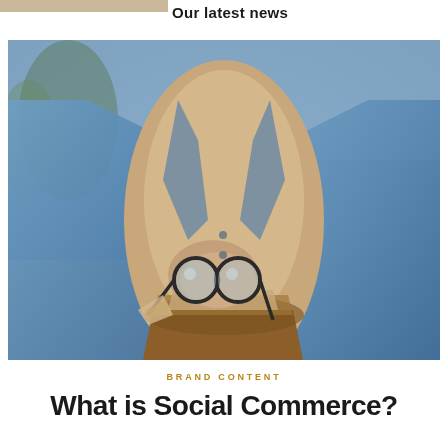Our latest news
[Figure (photo): Close-up photo of a person wearing a blue linen blazer over a beige turtleneck and brown trousers, holding round sunglasses in their hand]
BRAND CONTENT
What is Social Commerce?